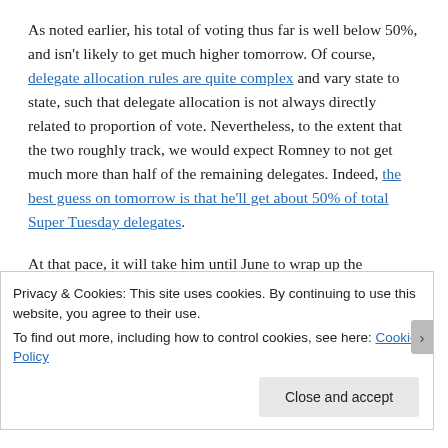As noted earlier, his total of voting thus far is well below 50%, and isn't likely to get much higher tomorrow. Of course, delegate allocation rules are quite complex and vary state to state, such that delegate allocation is not always directly related to proportion of vote. Nevertheless, to the extent that the two roughly track, we would expect Romney to not get much more than half of the remaining delegates. Indeed, the best guess on tomorrow is that he'll get about 50% of total Super Tuesday delegates.
At that pace, it will take him until June to wrap up the nomination. The only modern Republican race that went on anything like that long was 1976, when incumbent Gerald...
Privacy & Cookies: This site uses cookies. By continuing to use this website, you agree to their use.
To find out more, including how to control cookies, see here: Cookie Policy